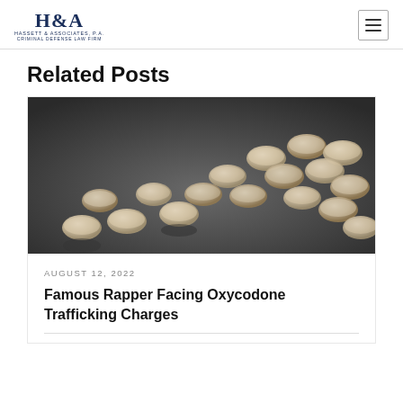H&A HASSETT & ASSOCIATES, P.A. CRIMINAL DEFENSE LAW FIRM
Related Posts
[Figure (photo): Close-up photo of multiple small round beige/white pills scattered on a dark surface]
AUGUST 12, 2022
Famous Rapper Facing Oxycodone Trafficking Charges